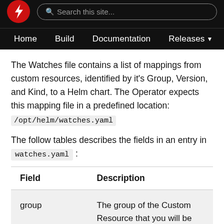Home  Build  Documentation  Releases
The Watches file contains a list of mappings from custom resources, identified by it's Group, Version, and Kind, to a Helm chart. The Operator expects this mapping file in a predefined location: /opt/helm/watches.yaml
The follow tables describes the fields in an entry in watches.yaml:
| Field | Description |
| --- | --- |
| group | The group of the Custom Resource that you will be watching. |